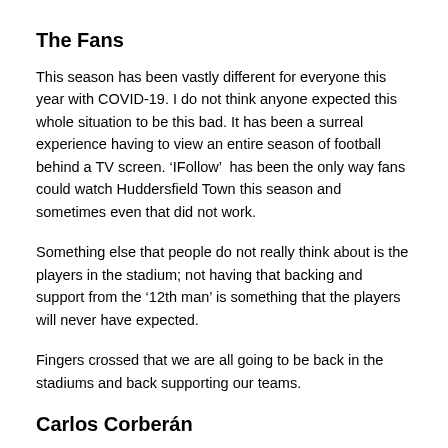The Fans
This season has been vastly different for everyone this year with COVID-19. I do not think anyone expected this whole situation to be this bad. It has been a surreal experience having to view an entire season of football behind a TV screen. ‘IFollow’  has been the only way fans could watch Huddersfield Town this season and sometimes even that did not work.
Something else that people do not really think about is the players in the stadium; not having that backing and support from the ‘12th man’ is something that the players will never have expected.
Fingers crossed that we are all going to be back in the stadiums and back supporting our teams.
Carlos Corberán
Carlos has had a very rough season with Huddersfield. From